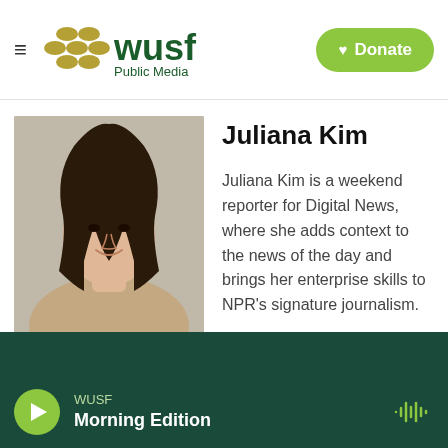WUSF Public Media — Donate
[Figure (photo): Portrait photo of Juliana Kim, a young Asian woman with long dark hair, wearing a beige turtleneck sweater, smiling.]
Juliana Kim
Juliana Kim is a weekend reporter for Digital News, where she adds context to the news of the day and brings her enterprise skills to NPR's signature journalism.
WUSF Morning Edition